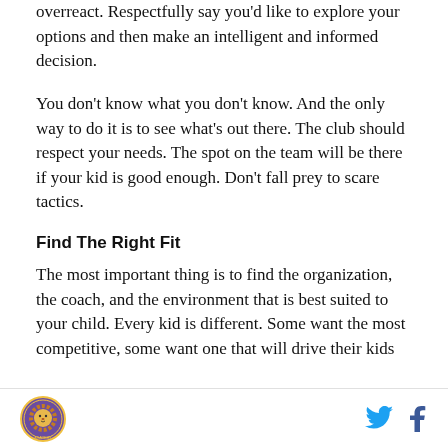overreact. Respectfully say you'd like to explore your options and then make an intelligent and informed decision.
You don't know what you don't know. And the only way to do it is to see what's out there. The club should respect your needs. The spot on the team will be there if your kid is good enough. Don't fall prey to scare tactics.
Find The Right Fit
The most important thing is to find the organization, the coach, and the environment that is best suited to your child. Every kid is different. Some want the most competitive, some want one that will drive their kids